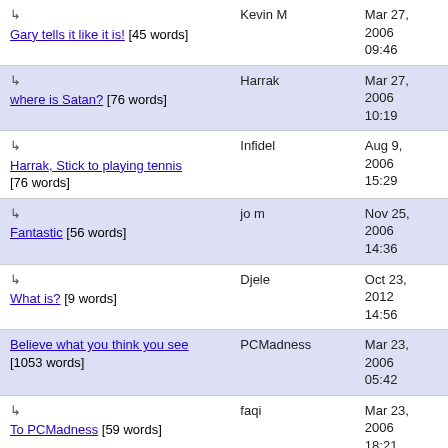| Title | Author | Date |
| --- | --- | --- |
| Gary tells it like it is! [45 words] | Kevin M | Mar 27, 2006 09:46 |
| where is Satan? [76 words] | Harrak | Mar 27, 2006 10:19 |
| Harrak, Stick to playing tennis [76 words] | Infidel | Aug 9, 2006 15:29 |
| Fantastic [56 words] | jo m | Nov 25, 2006 14:36 |
| What is? [9 words] | Djele | Oct 23, 2012 14:56 |
| Believe what you think you see [1053 words] | PCMadness | Mar 23, 2006 05:42 |
| To PCMadness [59 words] | faqi | Mar 23, 2006 18:21 |
| What about this for PC madness? [10 words] | van der Ley | Mar 23, 2006 19:39 |
| [partial] | B | Mar 24, |